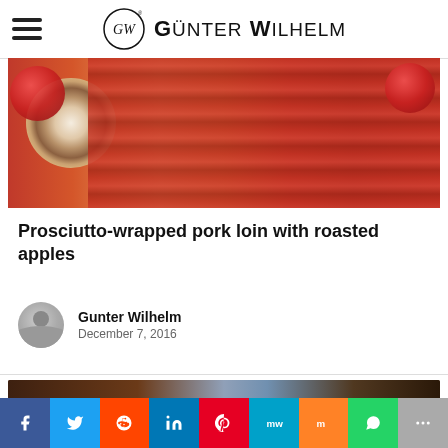Günter Wilhelm
[Figure (photo): Close-up photo of a prosciutto-wrapped pork loin roll with stuffing visible, surrounded by red ornamental balls]
Prosciutto-wrapped pork loin with roasted apples
Gunter Wilhelm
December 7, 2016
[Figure (photo): Partial photo of a food dish on a wooden surface]
Social share bar: Facebook, Twitter, Reddit, LinkedIn, Pinterest, MeWe, Mix, WhatsApp, More